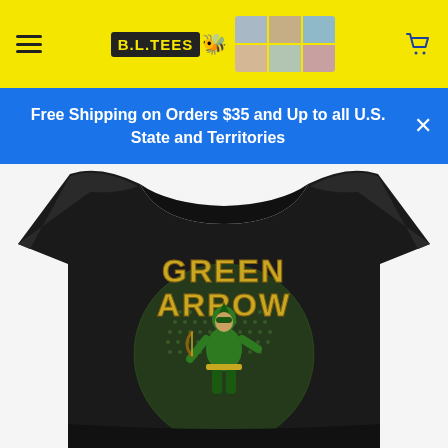BL.TEES [logo with bee emoji] — navigation header with hamburger menu, logo, photo strip, and cart icon
Free Shipping on Orders $35 and Up to all U.S. State and Territories
[Figure (photo): Black t-shirt with Green Arrow comic book character graphic. Text on shirt reads 'GREEN ARROW' in large yellow/gold letters with a superhero figure in green costume on a circular halftone background.]